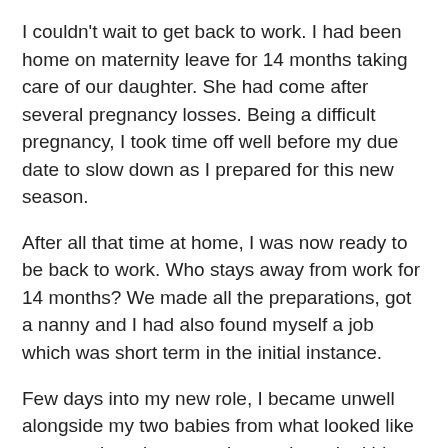I couldn't wait to get back to work. I had been home on maternity leave for 14 months taking care of our daughter. She had come after several pregnancy losses. Being a difficult pregnancy, I took time off well before my due date to slow down as I prepared for this new season.
After all that time at home, I was now ready to be back to work. Who stays away from work for 14 months? We made all the preparations, got a nanny and I had also found myself a job which was short term in the initial instance.
Few days into my new role, I became unwell alongside my two babies from what looked like a tummy bug. In not too long a time, the kids recovered while I remained unwell from this lingering “bug”. When I didn’t appear to be getting any better but was rather feeling worse, my